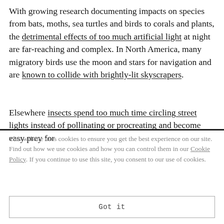With growing research documenting impacts on species from bats, moths, sea turtles and birds to corals and plants, the detrimental effects of too much artificial light at night are far-reaching and complex. In North America, many migratory birds use the moon and stars for navigation and are known to collide with brightly-lit skyscrapers.
Elsewhere insects spend too much time circling street lights instead of pollinating or procreating and become easy prey for
This website uses cookies to ensure you get the best experience on our site. Find out how we use cookies and how you can control them in our Cookie Policy. If you continue to use this site, you consent to our use of cookies.
Got it